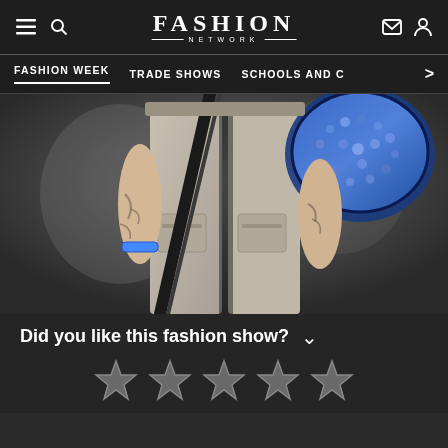FASHION NETWORK
FASHION WEEK   TRADE SHOWS   SCHOOLS AND C >
[Figure (photo): Fashion show model wearing beige/khaki cargo pants with a black diagonal strap and a large blue embellished bag or accessory visible. The model has tattoos on arms. Background is dark grey.]
Did you like this fashion show?
[Figure (infographic): Five star rating icons displayed in a row, all empty/outline stars in white/grey]